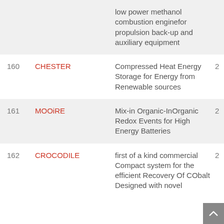| # | Name | Description |  |
| --- | --- | --- | --- |
|  |  | low power methanol combustion enginefor propulsion back-up and auxiliary equipment |  |
| 160 | CHESTER | Compressed Heat Energy Storage for Energy from Renewable sources | 2 |
| 161 | MOOiRE | Mix-in Organic-InOrganic Redox Events for High Energy Batteries | 2 |
| 162 | CROCODILE | first of a kind commercial Compact system for the efficient Recovery Of CObalt Designed with novel | 2 |